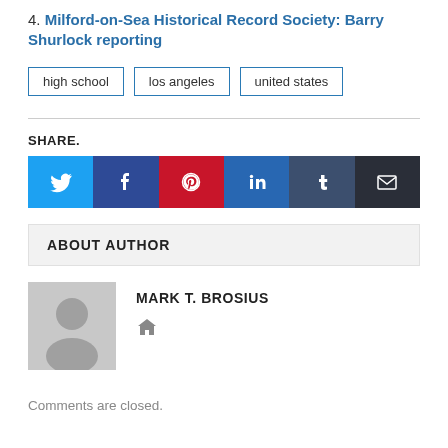4. Milford-on-Sea Historical Record Society: Barry Shurlock reporting
high school | los angeles | united states
SHARE.
[Figure (infographic): Social share buttons: Twitter (blue), Facebook (dark blue), Pinterest (red), LinkedIn (blue), Tumblr (dark slate), Email (very dark)]
ABOUT AUTHOR
[Figure (photo): Generic grey avatar placeholder silhouette image]
MARK T. BROSIUS
Comments are closed.